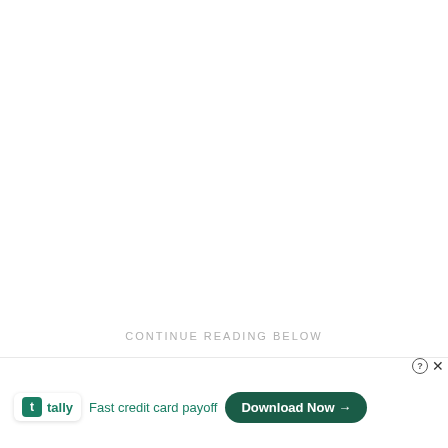CONTINUE READING BELOW
"Season Three marks the beginning of a new plan for how w[...]rer of Destin[...]ible
[Figure (screenshot): Tally app advertisement overlay showing 'tally' logo badge, 'Fast credit card payoff' text in green, a 'Download Now →' button in dark green, and a close (X) button with help (?) icon in top right.]